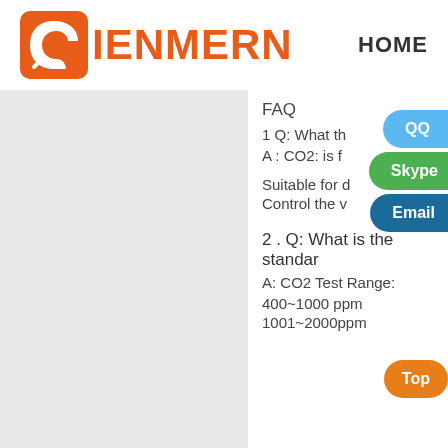[Figure (logo): DIENMERN logo with orange D icon and orange text]
HOME
FAQ
1 Q: What th...
A : CO2: is f...
Suitable for detection CO...
Control the ventilation cy...
2 . Q: What is the standar...
A: CO2 Test Range:
400~1000 ppm
1001~2000ppm